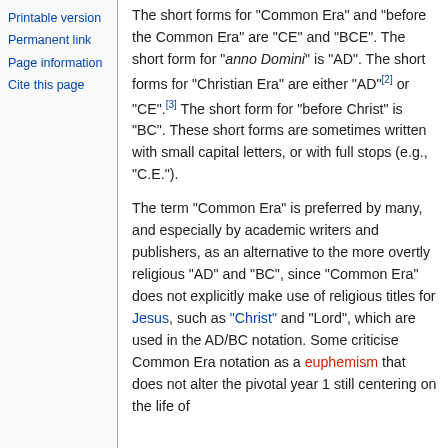Printable version
Permanent link
Page information
Cite this page
The short forms for "Common Era" and "before the Common Era" are "CE" and "BCE". The short form for "anno Domini" is "AD". The short forms for "Christian Era" are either "AD"[2] or "CE".[3] The short form for "before Christ" is "BC". These short forms are sometimes written with small capital letters, or with full stops (e.g., "C.E.").
The term "Common Era" is preferred by many, and especially by academic writers and publishers, as an alternative to the more overtly religious "AD" and "BC", since "Common Era" does not explicitly make use of religious titles for Jesus, such as "Christ" and "Lord", which are used in the AD/BC notation. Some criticise Common Era notation as a euphemism that does not alter the pivotal year 1 still centering on the life of...